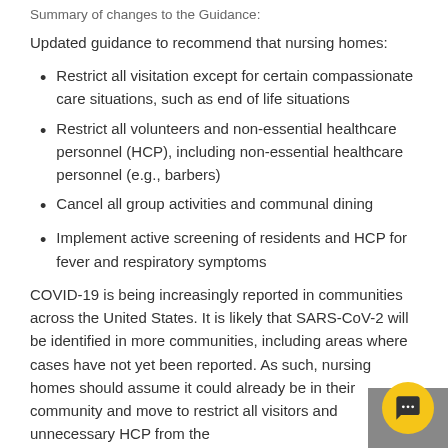Summary of changes to the Guidance:
Updated guidance to recommend that nursing homes:
Restrict all visitation except for certain compassionate care situations, such as end of life situations
Restrict all volunteers and non-essential healthcare personnel (HCP), including non-essential healthcare personnel (e.g., barbers)
Cancel all group activities and communal dining
Implement active screening of residents and HCP for fever and respiratory symptoms
COVID-19 is being increasingly reported in communities across the United States. It is likely that SARS-CoV-2 will be identified in more communities, including areas where cases have not yet been reported. As such, nursing homes should assume it could already be in their community and move to restrict all visitors and unnecessary HCP from the